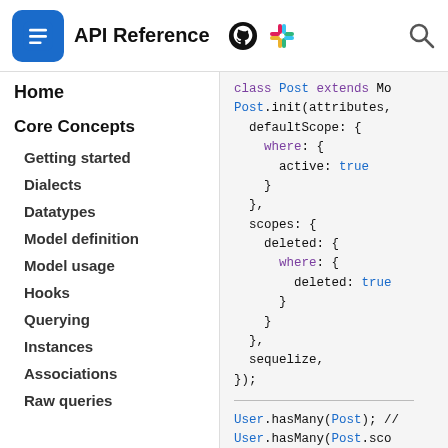API Reference
Home
Core Concepts
Getting started
Dialects
Datatypes
Model definition
Model usage
Hooks
Querying
Instances
Associations
Raw queries
[Figure (screenshot): Code snippet showing Sequelize model definition with defaultScope, scopes, and hasMany associations]